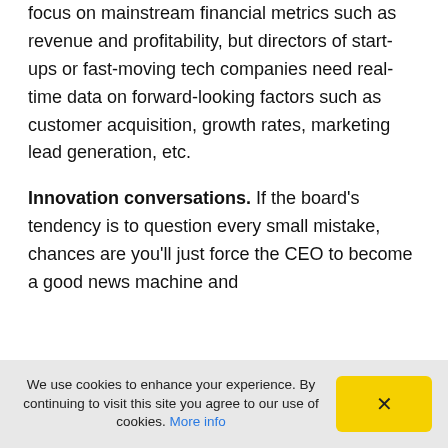focus on mainstream financial metrics such as revenue and profitability, but directors of start-ups or fast-moving tech companies need real-time data on forward-looking factors such as customer acquisition, growth rates, marketing lead generation, etc.
Innovation conversations. If the board's tendency is to question every small mistake, chances are you'll just force the CEO to become a good news machine and
We use cookies to enhance your experience. By continuing to visit this site you agree to our use of cookies. More info